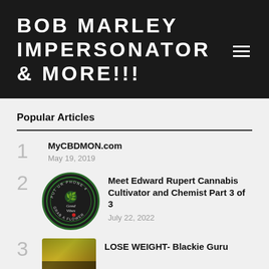BOB MARLEY IMPERSONATOR & MORE!!!
Popular Articles
1 MyCBDMON.com
May 19, 2019
2 Meet Edward Rupert Cannabis Cultivator and Chemist Part 3 of 3
July 22, 2022
3 LOSE WEIGHT- Blackie Guru